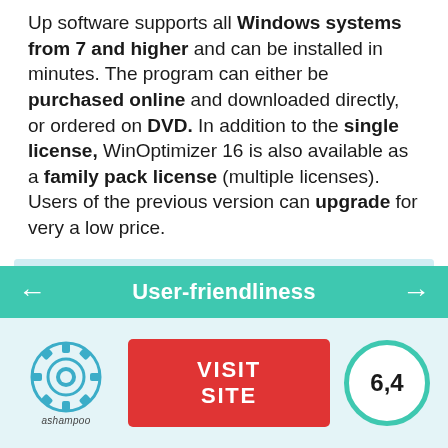Up software supports all Windows systems from 7 and higher and can be installed in minutes. The program can either be purchased online and downloaded directly, or ordered on DVD. In addition to the single license, WinOptimizer 16 is also available as a family pack license (multiple licenses). Users of the previous version can upgrade for very a low price.
| Device | Ashampoo WinOptimizer 16 |
| --- | --- |
| Windows 7 or higher | Software/App |
User-friendliness
[Figure (logo): Ashampoo gear/settings logo icon with 'ashampoo' text below]
VISIT SITE
6,4